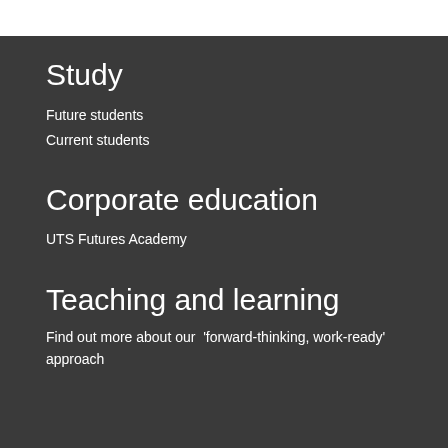Study
Future students
Current students
Corporate education
UTS Futures Academy
Teaching and learning
Find out more about our ‘forward-thinking, work-ready’ approach